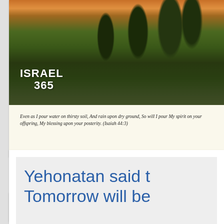[Figure (photo): Landscape photo of Israel showing trees, green fields, rocks and warm sunset/golden hour sky, with ISRAEL 365 logo overlaid in white bold text at bottom left]
Even as I pour water on thirsty soil, And rain upon dry ground, So will I pour My spirit on your offspring, My blessing upon your posterity. (Isaiah 44:3)
Yehonatan said to Tomorrow will be